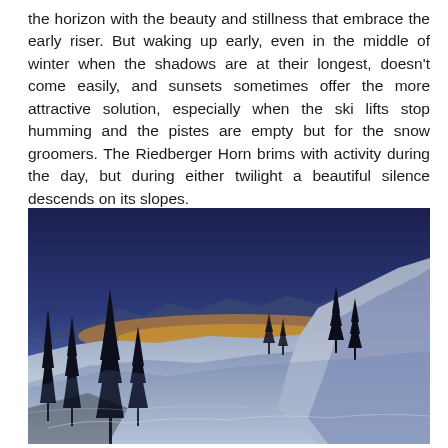the horizon with the beauty and stillness that embrace the early riser. But waking up early, even in the middle of winter when the shadows are at their longest, doesn't come easily, and sunsets sometimes offer the more attractive solution, especially when the ski lifts stop humming and the pistes are empty but for the snow groomers. The Riedberger Horn brims with activity during the day, but during either twilight a beautiful silence descends on its slopes.
[Figure (photo): Winter twilight landscape at the Riedberger Horn: snow-covered slopes in the foreground and middle ground, silhouetted evergreen trees on the left and center-right, mountains in the background, and a vivid orange-yellow glow along the horizon beneath a deep blue-purple sky.]